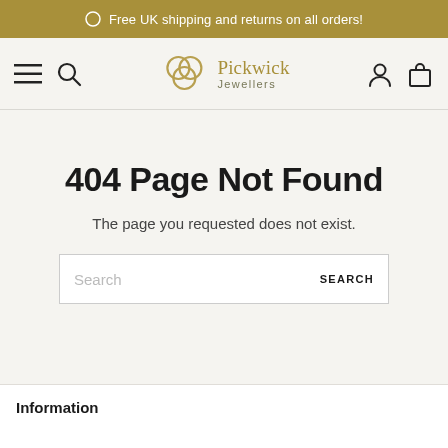Free UK shipping and returns on all orders!
[Figure (logo): Pickwick Jewellers logo with three interlocking rings and text 'Pickwick Jewellers']
404 Page Not Found
The page you requested does not exist.
Search | SEARCH
Information